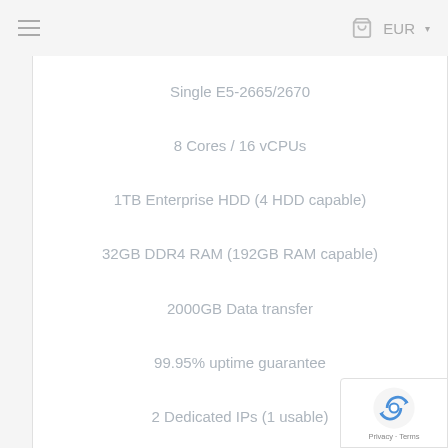EUR
Single E5-2665/2670
8 Cores / 16 vCPUs
1TB Enterprise HDD (4 HDD capable)
32GB DDR4 RAM (192GB RAM capable)
2000GB Data transfer
99.95% uptime guarantee
2 Dedicated IPs (1 usable)